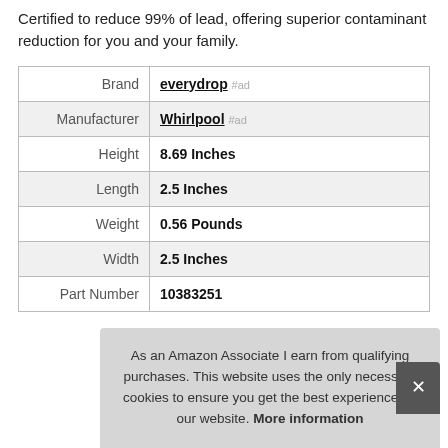Certified to reduce 99% of lead, offering superior contaminant reduction for you and your family.
|  |  |
| --- | --- |
| Brand | everydrop #ad |
| Manufacturer | Whirlpool #ad |
| Height | 8.69 Inches |
| Length | 2.5 Inches |
| Weight | 0.56 Pounds |
| Width | 2.5 Inches |
| Part Number | 10383251 |
As an Amazon Associate I earn from qualifying purchases. This website uses the only necessary cookies to ensure you get the best experience on our website. More information